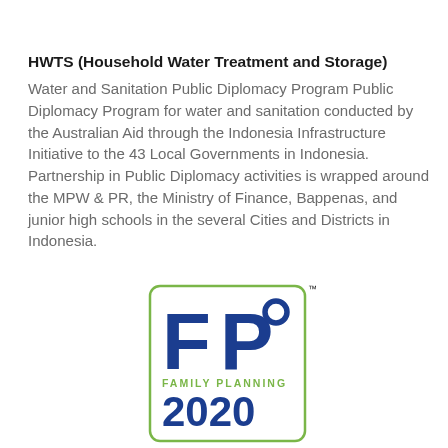HWTS (Household Water Treatment and Storage)
Water and Sanitation Public Diplomacy Program Public Diplomacy Program for water and sanitation conducted by the Australian Aid through the Indonesia Infrastructure Initiative to the 43 Local Governments in Indonesia. Partnership in Public Diplomacy activities is wrapped around the MPW & PR, the Ministry of Finance, Bappenas, and junior high schools in the several Cities and Districts in Indonesia.
[Figure (logo): Family Planning 2020 logo — FP2020 in a rounded green-bordered rectangle with 'FAMILY PLANNING' in green and '2020' in large blue text]